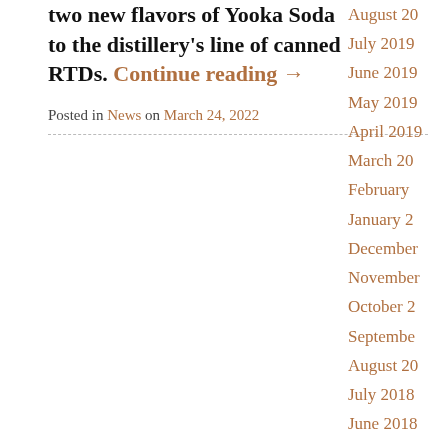two new flavors of Yooka Soda to the distillery's line of canned RTDs. Continue reading →
Posted in News on March 24, 2022
August 20
July 2019
June 2019
May 2019
April 2019
March 20
February
January 2
December
November
October 2
September
August 20
July 2018
June 2018
May 2018
April 2018
March 20
February
January 2
December
November